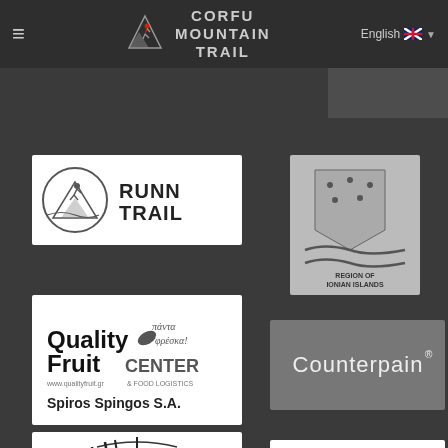Corfu Mountain Trail - Navigation bar with hamburger menu, logo, and English language selector
[Figure (logo): RunnTrail logo - circular mountain runner icon with text RUNNTRAIL]
[Figure (logo): Region of Ionian Islands logo - flag/wave design with stars and text REGION OF IONIAN ISLANDS]
[Figure (logo): Quality Fruit Center logo - Greek text, leaf icon, Spiros Spingos S.A.]
[Figure (logo): Counterpain logo - white text on gray background with registered trademark]
[Figure (logo): Dizi logo - stylized grass/reeds design with text dizi]
[Figure (logo): EC cycling logo - stylized cyclist figure with circular element]